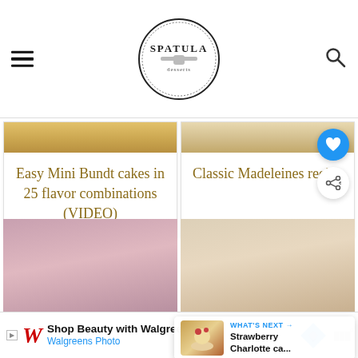Spatula Desserts
Easy Mini Bundt cakes in 25 flavor combinations (VIDEO)
Classic Madeleines recipe
[Figure (screenshot): Bottom row of food photos: pink dessert on left, cream topped pastry on right]
WHAT'S NEXT → Strawberry Charlotte ca...
[Figure (other): Advertisement: Shop Beauty with Walgreens, Walgreens Photo]